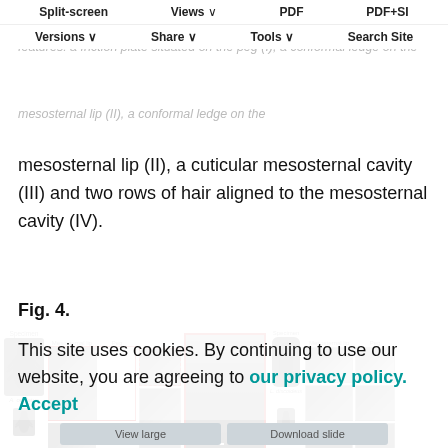Split-screen | Views | PDF | PDF+SI | Versions | Share | Tools | Search Site
representative specimens of A. oculatus, P. attenuatus, L. discoideus and Melanotus spp. are shown in Fig. 4. All specimens share the following features: a friction plate situated on the peg (I), a conformal ledge on the mesosternal lip (II), a cuticular mesosternal cavity (III) and two rows of hair aligned to the mesosternal cavity (IV).
Fig. 4.
[Figure (photo): Scientific figure showing microscopy images of beetle specimens (A. oculatus and L. discoideus) with labeled panels A, B, C, D showing mesosternal lip and peg structures, with red highlighted boxes around certain panels and a large central SEM image.]
This site uses cookies. By continuing to use our website, you are agreeing to our privacy policy.
Accept